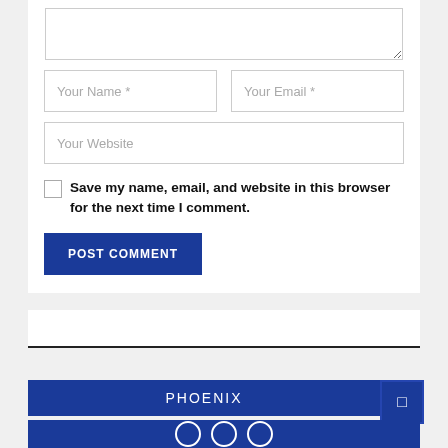[Figure (screenshot): Partial textarea input box (top cropped), showing resize handle at bottom-right corner]
Your Name *
Your Email *
Your Website
Save my name, email, and website in this browser for the next time I comment.
POST COMMENT
PHOENIX